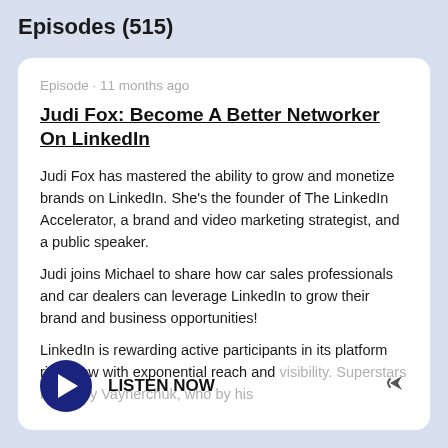Episodes (515)
Episode · 11 months ago
Judi Fox: Become A Better Networker On LinkedIn
Judi Fox has mastered the ability to grow and monetize brands on LinkedIn. She's the founder of The LinkedIn Accelerator, a brand and video marketing strategist, and a public speaker.
Judi joins Michael to share how car sales professionals and car dealers can leverage LinkedIn to grow their brand and business opportunities!
LinkedIn is rewarding active participants in its platform right now with exponential reach and visibility. Superstars like Gary Vaynerchuk, who by his
LISTEN NOW